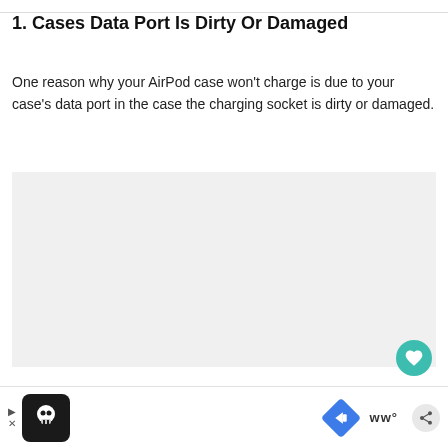1. Cases Data Port Is Dirty Or Damaged
One reason why your AirPod case won't charge is due to your case's data port in the case the charging socket is dirty or damaged.
[Figure (other): Light gray rectangular image placeholder area]
[Figure (other): Advertisement bar at the bottom with chef icon, navigation arrow icon, and text logo 'ww°']